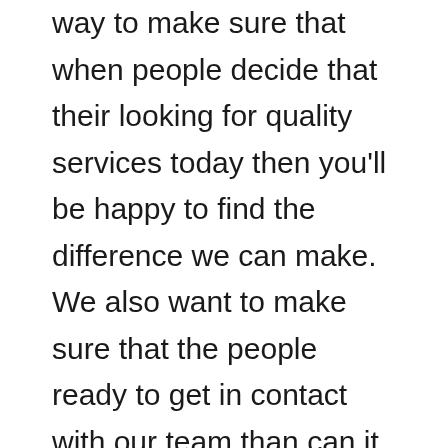way to make sure that when people decide that their looking for quality services today then you'll be happy to find the difference we can make. We also want to make sure that the people ready to get in contact with our team than can it be happy to find that really going to help people find the difference that we can make our homebuilders on our services are really going to build for you in the best way and the top wait for you today because we want to make sure he giving you nothing but the best.
You deserve the best and that's what our